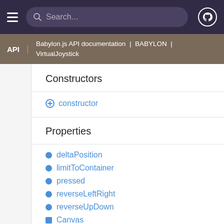Search...
API | Babylon.js API documentation | BABYLON | VirtualJoystick
Constructors
constructor
Properties
deltaPosition
limitToContainer
pressed
reverseLeftRight
reverseUpDown
Canvas